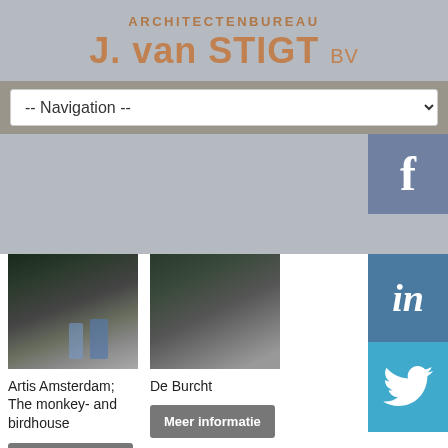ARCHITECTENBUREAU J. van STIGT BV
-- Navigation --
[Figure (photo): Photo of Artis Amsterdam monkey- and birdhouse interior with glass facade and visitors]
[Figure (photo): Photo of De Burcht exterior with trees and building facade]
Artis Amsterdam; The monkey- and birdhouse
De Burcht
Meer informatie
Meer informatie
[Figure (photo): Bottom left project photo]
[Figure (photo): Bottom right project photo]